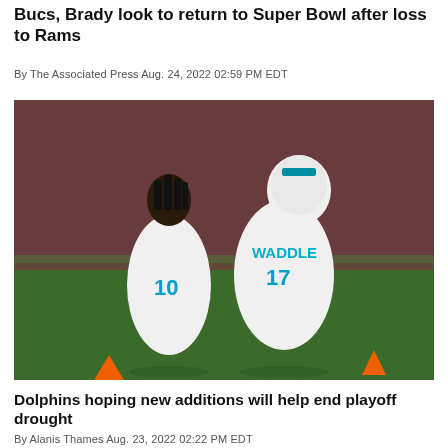Bucs, Brady look to return to Super Bowl after loss to Rams
By The Associated Press Aug. 24, 2022 02:59 PM EDT
[Figure (photo): Two Miami Dolphins players in white jerseys on a football field. The player on the left wears number 10, and the player on the right (facing away) wears number 17 with the name WADDLE on the back. Orange cones are visible on the green field.]
Dolphins hoping new additions will help end playoff drought
By Alanis Thames Aug. 23, 2022 02:22 PM EDT